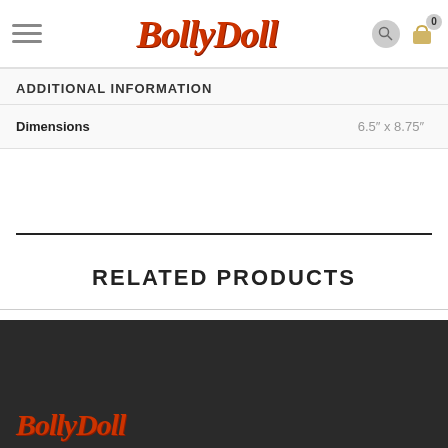BollyDoll
ADDITIONAL INFORMATION
| Dimensions | 6.5″ x 8.75″ |
| --- | --- |
RELATED PRODUCTS
[Figure (logo): BollyDoll logo in dark footer area]